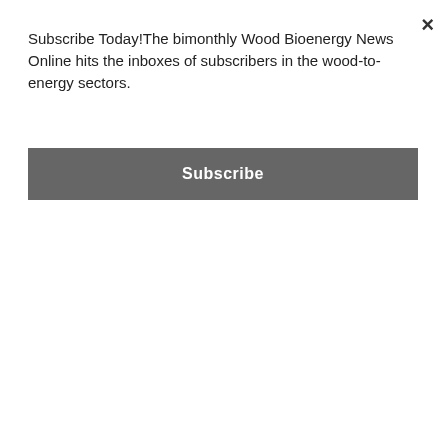Subscribe Today!The bimonthly Wood Bioenergy News Online hits the inboxes of subscribers in the wood-to-energy sectors.
Subscribe
keynote presentations in coming issues of Wood Bioenergy magazine.
[Figure (screenshot): Timber Processing and Energy Expo banner: September 28-30 2022, red background with house/building logo icons]
[Figure (screenshot): Wood Bioenergy News Online Subscribe Today banner: dark blue background with text 'wood bioenergy NEWS ONLINE | Subscribe today Get the latest news every other m...']